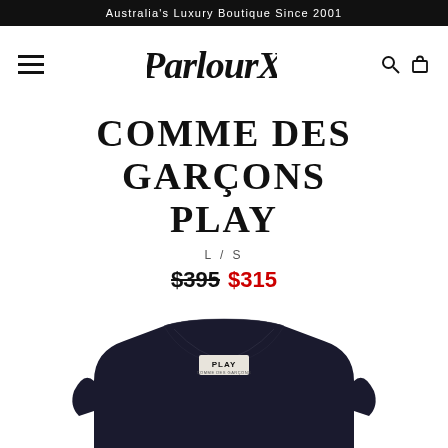Australia's Luxury Boutique Since 2001
[Figure (logo): ParlourX logo in handwritten script style]
COMME DES GARÇONS PLAY
L / S
$395  $315
[Figure (photo): Dark navy Comme des Garçons PLAY long sleeve shirt with PLAY label visible at collar]